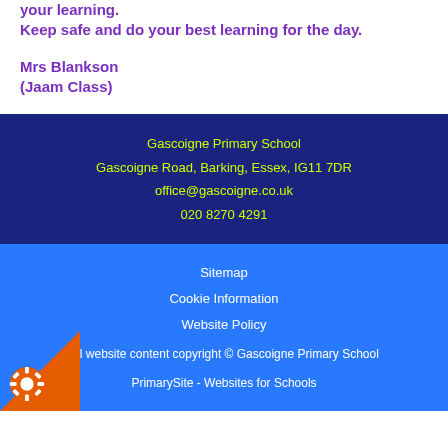your learning.
Keep safe and do your best learning for the day.
Mrs Blankson
(Jaam Class)
Gascoigne Primary School
Gascoigne Road, Barking, Essex, IG11 7DR
office@gascoigne.co.uk
020 8270 4291
Sitemap
Cookie Information
Website Policy
All website content copyright © Gascoigne Primary School
PrimarySite - Websites for Schools